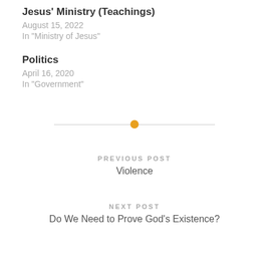Jesus' Ministry (Teachings)
August 15, 2022
In "Ministry of Jesus"
Politics
April 16, 2020
In "Government"
PREVIOUS POST
Violence
NEXT POST
Do We Need to Prove God's Existence?